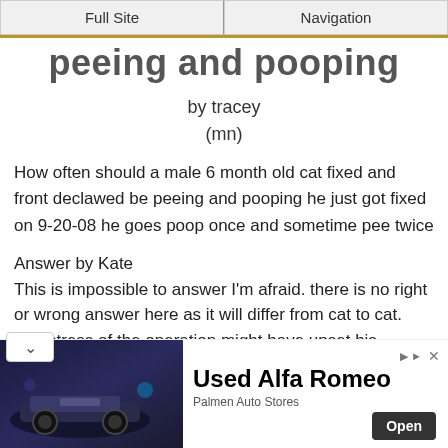Full Site | Navigation
peeing and pooping
by tracey
(mn)
How often should a male 6 month old cat fixed and front declawed be peeing and pooping he just got fixed on 9-20-08 he goes poop once and sometime pee twice
Answer by Kate
This is impossible to answer I'm afraid. there is no right or wrong answer here as it will differ from cat to cat.
The stress of the operation might have upset his system for a few days, make sure he drinks lots of water. Hopefully he will ck to normal in a few days.
[Figure (other): Advertisement for Used Alfa Romeo from Palmen Auto Stores, showing dark image of cars with Open button]